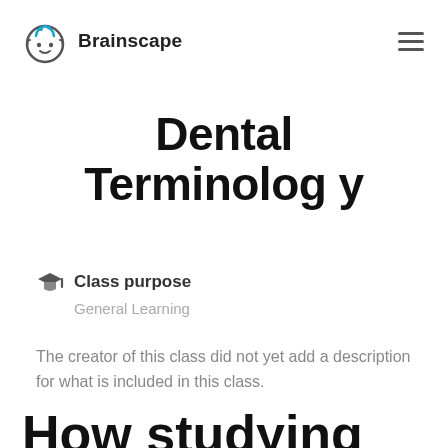Brainscape
Dental Terminology
Class purpose
General Learning
The creator of this class did not yet add a description for what is included in this class.
How studying